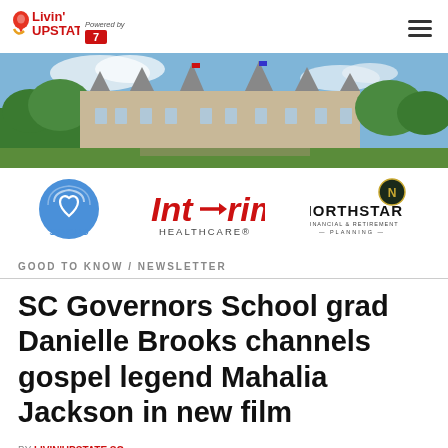Livin' Upstate — Powered by [logo]
[Figure (photo): Aerial/landscape photo of a large historic estate building (Biltmore-style mansion) with trees and blue sky]
[Figure (logo): SYNC.MD logo — blue circle with wifi-style heart lines, text SYNC.MD below in blue]
[Figure (logo): Int-rim HealthCare logo in red with HEALTHCARE text below]
[Figure (logo): NORTHSTAR Financial & Retirement Planning logo with eagle emblem]
GOOD TO KNOW / NEWSLETTER
SC Governors School grad Danielle Brooks channels gospel legend Mahalia Jackson in new film
BY LIVIN'UPSTATE.SC